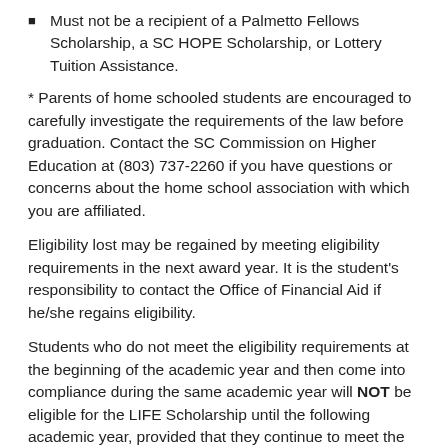Must not be a recipient of a Palmetto Fellows Scholarship, a SC HOPE Scholarship, or Lottery Tuition Assistance.
* Parents of home schooled students are encouraged to carefully investigate the requirements of the law before graduation. Contact the SC Commission on Higher Education at (803) 737-2260 if you have questions or concerns about the home school association with which you are affiliated.
Eligibility lost may be regained by meeting eligibility requirements in the next award year. It is the student's responsibility to contact the Office of Financial Aid if he/she regains eligibility.
Students who do not meet the eligibility requirements at the beginning of the academic year and then come into compliance during the same academic year will NOT be eligible for the LIFE Scholarship until the following academic year, provided that they continue to meet the eligibility requirements.
Entering Freshmen